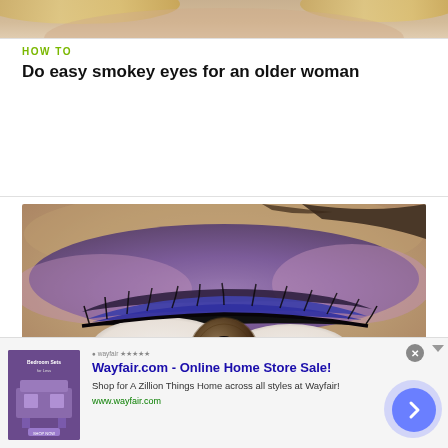[Figure (photo): Close-up of a woman's face, cropped at top showing forehead and blonde hair]
HOW TO
Do easy smokey eyes for an older woman
[Figure (photo): Close-up macro photo of a woman's eye with purple smokey eye makeup, brown iris, heavy purple and dark eyeshadow blended upward]
HOW TO
Apply eyeshadow for a purple smokey look
[Figure (screenshot): Advertisement banner for Wayfair.com - Online Home Store Sale with thumbnail of bedroom furniture on purple background, text and navigation arrow]